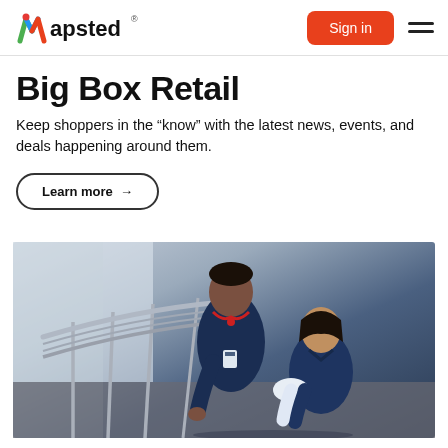Mapsted® | Sign in
Big Box Retail
Keep shoppers in the “know” with the latest news, events, and deals happening around them.
Learn more →
[Figure (photo): Two healthcare workers in navy blue scrubs, one with a red stethoscope, looking at something together on a staircase with metal railings in a modern building.]